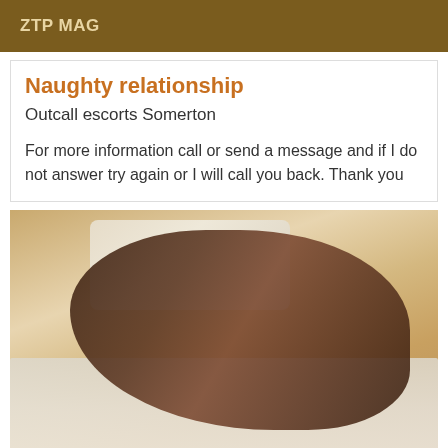ZTP MAG
Naughty relationship
Outcall escorts Somerton
For more information call or send a message and if I do not answer try again or I will call you back. Thank you
[Figure (photo): Photo of a person on a bed]